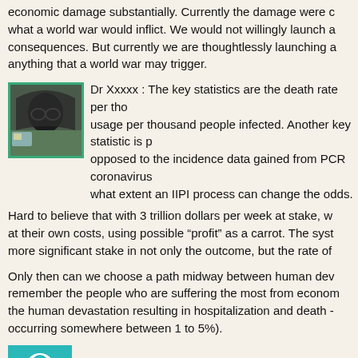economic damage substantially. Currently the damage were compared to what a world war would inflict. We would not willingly launch a consequences. But currently we are thoughtlessly launching a anything that a world war may trigger.
[Figure (photo): Avatar photo of a person wearing a hoodie, partially obscured face]
Dr Xxxxx : The key statistics are the death rate per thousand, usage per thousand people infected. Another key statistic is p opposed to the incidence data gained from PCR coronavirus t what extent an IIPI process can change the odds.
Hard to believe that with 3 trillion dollars per week at stake, w at their own costs, using possible “profit” as a carrot. The syst more significant stake in not only the outcome, but the rate of
Only then can we choose a path midway between human dev remember the people who are suffering the most from econom the human devastation resulting in hospitalization and death - occurring somewhere between 1 to 5%).
[Figure (photo): Avatar photo showing a teal/green background with a white circular icon]